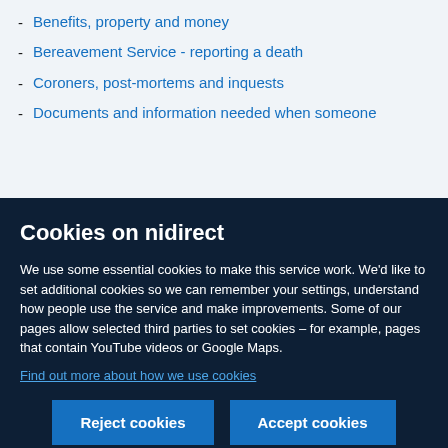Benefits, property and money
Bereavement Service - reporting a death
Coroners, post-mortems and inquests
Documents and information needed when someone
Cookies on nidirect
We use some essential cookies to make this service work. We'd like to set additional cookies so we can remember your settings, understand how people use the service and make improvements. Some of our pages allow selected third parties to set cookies – for example, pages that contain YouTube videos or Google Maps.
Find out more about how we use cookies
Reject cookies | Accept cookies